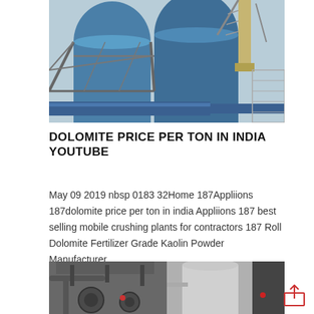[Figure (photo): Industrial facility with large blue cylindrical storage silos, metal framework, conveyor belt and stairways, viewed from below]
DOLOMITE PRICE PER TON IN INDIA YOUTUBE
May 09 2019 nbsp 0183 32Home 187Appliions 187dolomite price per ton in india Appliions 187 best selling mobile crushing plants for contractors 187 Roll Dolomite Fertilizer Grade Kaolin Powder Manufacturer…
[Figure (photo): Industrial machinery and equipment, showing mechanical parts and a large cylindrical silo in the background]
[Figure (other): Share/upload icon in red outline style]